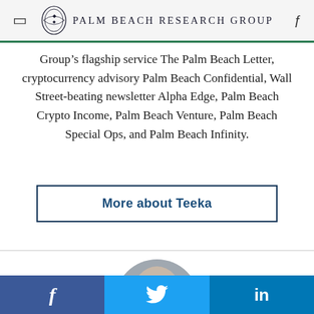Palm Beach Research Group
Group’s flagship service The Palm Beach Letter, cryptocurrency advisory Palm Beach Confidential, Wall Street-beating newsletter Alpha Edge, Palm Beach Crypto Income, Palm Beach Venture, Palm Beach Special Ops, and Palm Beach Infinity.
More about Teeka
[Figure (photo): Circular cropped headshot photo of a bald man, partially visible from forehead to mid-face, with gray background]
f   🐦   in